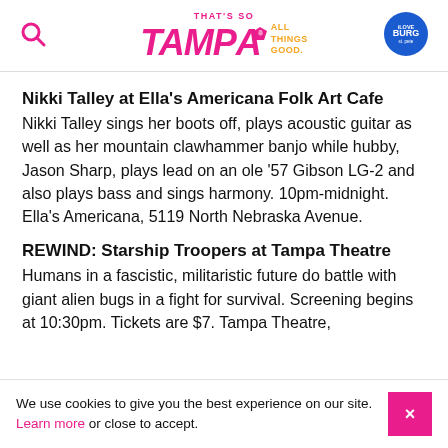That's So Tampa — All Things Good. [iLoveBurg logo]
Nikki Talley at Ella's Americana Folk Art Cafe
Nikki Talley sings her boots off, plays acoustic guitar as well as her mountain clawhammer banjo while hubby, Jason Sharp, plays lead on an ole '57 Gibson LG-2 and also plays bass and sings harmony. 10pm-midnight. Ella's Americana, 5119 North Nebraska Avenue.
REWIND: Starship Troopers at Tampa Theatre
Humans in a fascistic, militaristic future do battle with giant alien bugs in a fight for survival. Screening begins at 10:30pm. Tickets are $7. Tampa Theatre,
We use cookies to give you the best experience on our site. Learn more or close to accept.